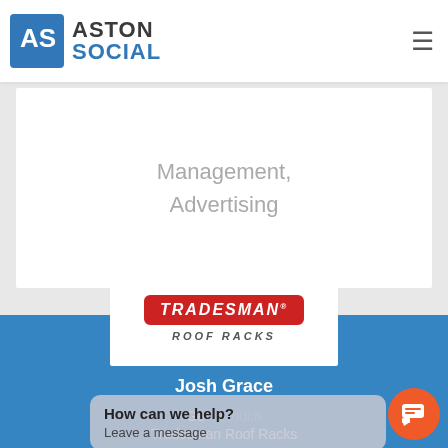[Figure (logo): Aston Social logo with blue AS icon and company name]
Management,
Advertising
[Figure (logo): Tradesman Roof Racks logo in white box on blue background]
Josh Grace
How can we help?
Leave a message
Ge[t in touch]
Tradesman Roof Racks